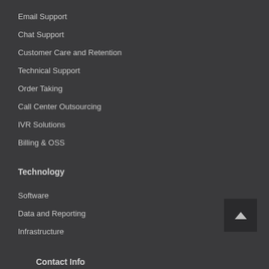Email Support
Chat Support
Customer Care and Retention
Technical Support
Order Taking
Call Center Outsourcing
IVR Solutions
Billing & OSS
Technology
Software
Data and Reporting
Infrastructure
Contact Info